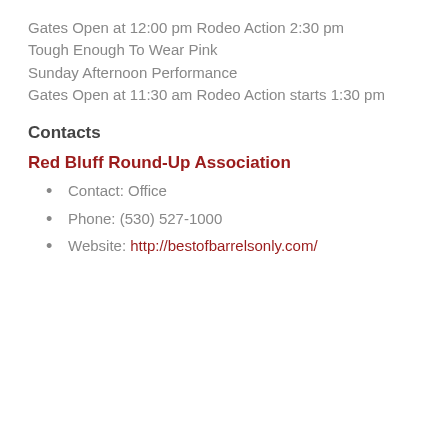Gates Open at 12:00 pm Rodeo Action 2:30 pm
Tough Enough To Wear Pink
Sunday Afternoon Performance
Gates Open at 11:30 am Rodeo Action starts 1:30 pm
Contacts
Red Bluff Round-Up Association
Contact: Office
Phone: (530) 527-1000
Website: http://bestofbarrelsonly.com/